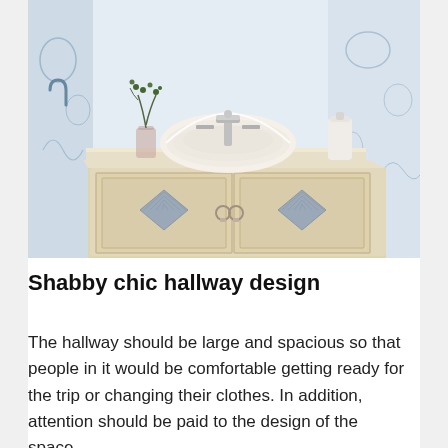[Figure (photo): A vintage-style bathroom vanity with a cream/whitewashed wooden cabinet featuring two doors with diamond-shaped blue-grey inset panels and round ring handles. On top sits a white ceramic vessel sink with chrome faucets. A glass vase with green branches and a white ceramic dispenser are also on the countertop. The background features blue and white toile-style wallpaper with nature motifs.]
Shabby chic hallway design
The hallway should be large and spacious so that people in it would be comfortable getting ready for the trip or changing their clothes. In addition, attention should be paid to the design of the space,